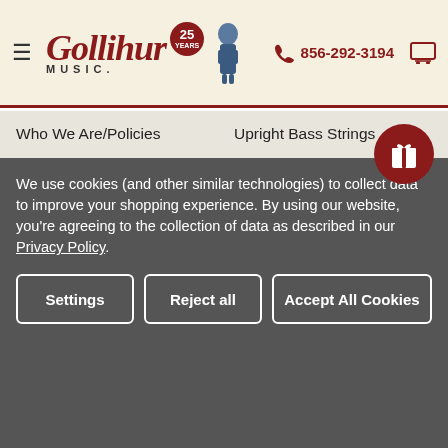Gollihur Music — 856-292-3194
Who We Are/Policies
Upright Bass Strings
Bass Gear Buyer's Guides
Bows and Rosin
Bass Resources and Help
Accessories for Upright Bass
Contact Us
Pickups and Microphones
Sitemap
Amplifiers and Preamps
Privacy Preferences
We use cookies (and other similar technologies) to collect data to improve your shopping experience. By using our website, you're agreeing to the collection of data as described in our Privacy Policy.
Settings | Reject all | Accept All Cookies